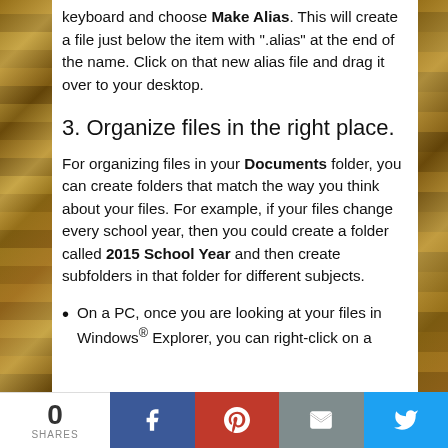keyboard and choose Make Alias. This will create a file just below the item with ".alias" at the end of the name. Click on that new alias file and drag it over to your desktop.
3. Organize files in the right place.
For organizing files in your Documents folder, you can create folders that match the way you think about your files. For example, if your files change every school year, then you could create a folder called 2015 School Year and then create subfolders in that folder for different subjects.
On a PC, once you are looking at your files in Windows® Explorer, you can right-click on a
0 SHARES